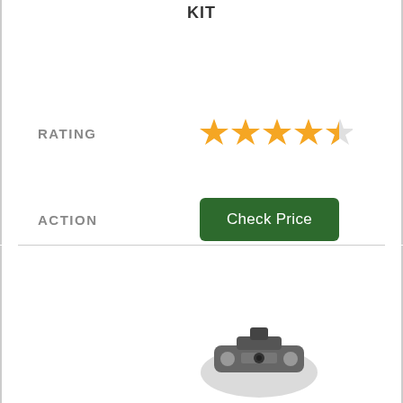KIT
RATING
[Figure (other): 4.5 star rating shown as orange stars]
ACTION
Check Price
SERIAL
5
[Figure (photo): Product image of a tool or connector at bottom of page]